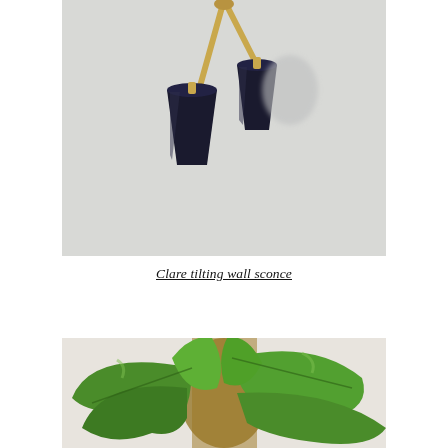[Figure (photo): Close-up photograph of a Clare tilting wall sconce with two black conical shades on brass arms against a white textured wall.]
Clare tilting wall sconce
[Figure (photo): Close-up photograph of large green staghorn fern leaves with lobed edges against a light background.]